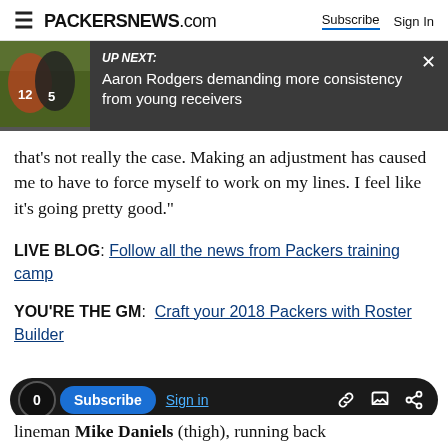PACKERSNEWS.com | Subscribe | Sign In
[Figure (screenshot): UP NEXT banner with thumbnail image of football players and text: Aaron Rodgers demanding more consistency from young receivers]
that's not really the case. Making an adjustment has caused me to have to force myself to work on my lines. I feel like it's going pretty good."
LIVE BLOG: Follow all the news from Packers training camp
YOU'RE THE GM: Craft your 2018 Packers with Roster Builder
[Figure (screenshot): Bottom toolbar with subscribe button, sign in link, and share icons]
lineman Mike Daniels (thigh), running back